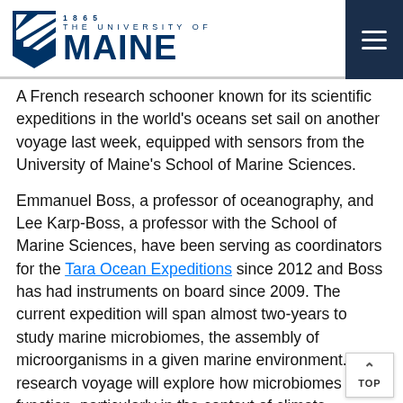1865 THE UNIVERSITY OF MAINE
A French research schooner known for its scientific expeditions in the world's oceans set sail on another voyage last week, equipped with sensors from the University of Maine's School of Marine Sciences.
Emmanuel Boss, a professor of oceanography, and Lee Karp-Boss, a professor with the School of Marine Sciences, have been serving as coordinators for the Tara Ocean Expeditions since 2012 and Boss has had instruments on board since 2009. The current expedition will span almost two-years to study marine microbiomes, the assembly of microorganisms in a given marine environment. The research voyage will explore how microbiomes function, particularly in the context of climate